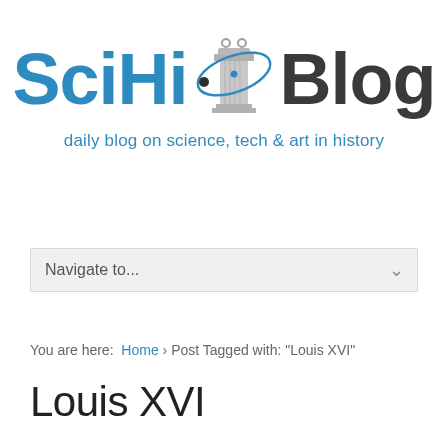[Figure (logo): SciHi Blog logo with column icon and atom orbit graphic between 'SciHi' and 'Blog' text]
daily blog on science, tech & art in history
Navigate to...
You are here: Home › Post Tagged with: "Louis XVI"
Louis XVI